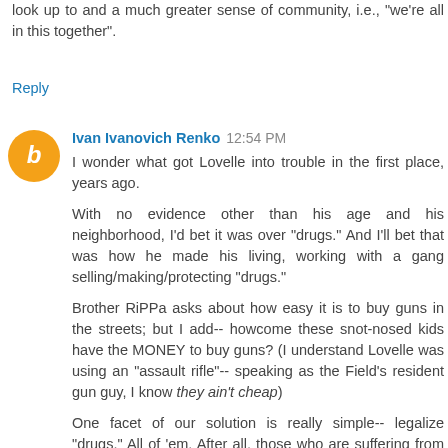look up to and a much greater sense of community, i.e., "we're all in this together".
Reply
Ivan Ivanovich Renko  12:54 PM
I wonder what got Lovelle into trouble in the first place, years ago.
With no evidence other than his age and his neighborhood, I'd bet it was over "drugs." And I'll bet that was how he made his living, working with a gang selling/making/protecting "drugs."
Brother RiPPa asks about how easy it is to buy guns in the streets; but I add-- howcome these snot-nosed kids have the MONEY to buy guns? (I understand Lovelle was using an "assault rifle"-- speaking as the Field's resident gun guy, I know they ain't cheap)
One facet of our solution is really simple-- legalize "drugs." All of 'em. After all, those who are suffering from using them